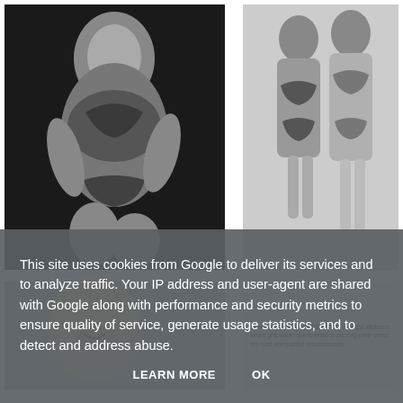[Figure (photo): Black and white vintage photo of a woman posing in a patterned bikini, kneeling]
[Figure (photo): Black and white vintage photo of two women in bikinis standing side by side]
[Figure (photo): Black and white vintage photo of a smiling blonde woman]
Blonde singer LISA CROSBY hails from the Midlands, where girls know how to retain a dazzling smile under the most unexpected circumstances
This site uses cookies from Google to deliver its services and to analyze traffic. Your IP address and user-agent are shared with Google along with performance and security metrics to ensure quality of service, generate usage statistics, and to detect and address abuse.
LEARN MORE    OK